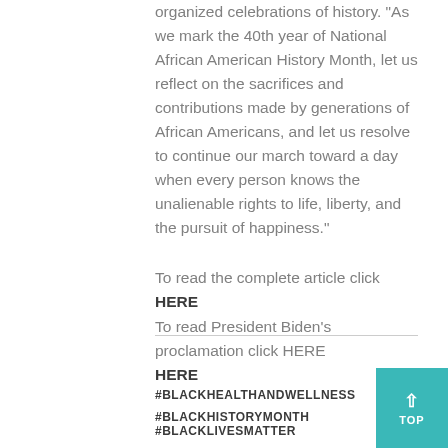organized celebrations of history. “As we mark the 40th year of National African American History Month, let us reflect on the sacrifices and contributions made by generations of African Americans, and let us resolve to continue our march toward a day when every person knows the unalienable rights to life, liberty, and the pursuit of happiness.”
To read the complete article click HERE
To read President Biden’s proclamation click HERE
#BLACKHEALTHANDWELLNESS
#BLACKHISTORYMONTH   #BLACKLIVESMATTER